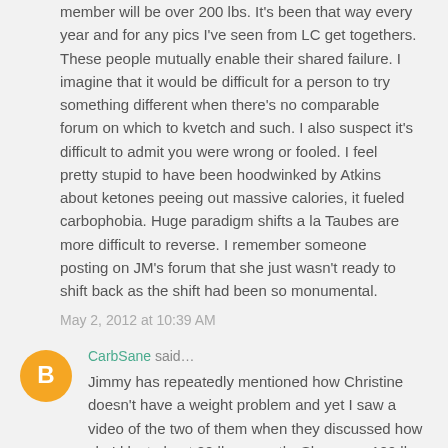member will be over 200 lbs. It's been that way every year and for any pics I've seen from LC get togethers. These people mutually enable their shared failure. I imagine that it would be difficult for a person to try something different when there's no comparable forum on which to kvetch and such. I also suspect it's difficult to admit you were wrong or fooled. I feel pretty stupid to have been hoodwinked by Atkins about ketones peeing out massive calories, it fueled carbophobia. Huge paradigm shifts a la Taubes are more difficult to reverse. I remember someone posting on JM's forum that she just wasn't ready to shift back as the shift had been so monumental.
May 2, 2012 at 10:39 AM
CarbSane said...
Jimmy has repeatedly mentioned how Christine doesn't have a weight problem and yet I saw a video of the two of them when they discussed how she'd lost about 20 lbs recently. She was <100 lbs when they got married and I